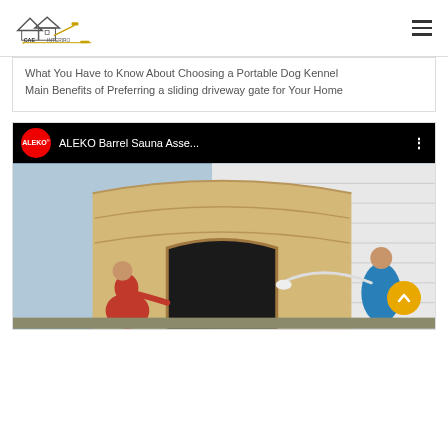CAE Interiro logo and hamburger menu
What You Have to Know About Choosing a Portable Dog Kennel
Main Benefits of Preferring a sliding driveway gate for Your Home
[Figure (screenshot): YouTube video embed showing ALEKO Barrel Sauna Assembly video, with ALEKO red circle logo, video title 'ALEKO Barrel Sauna Asse...', three-dot menu, and thumbnail of two people assembling a wooden barrel sauna outdoors. A gold back-to-top button appears at bottom right.]